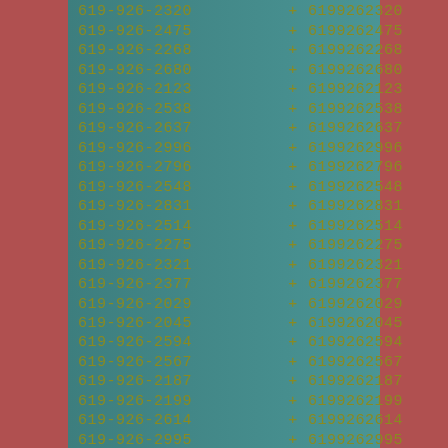619-926-2320 + 6199262320
619-926-2475 + 6199262475
619-926-2268 + 6199262268
619-926-2680 + 6199262680
619-926-2123 + 6199262123
619-926-2538 + 6199262538
619-926-2637 + 6199262637
619-926-2996 + 6199262996
619-926-2796 + 6199262796
619-926-2548 + 6199262548
619-926-2831 + 6199262831
619-926-2514 + 6199262514
619-926-2275 + 6199262275
619-926-2321 + 6199262321
619-926-2377 + 6199262377
619-926-2029 + 6199262029
619-926-2045 + 6199262045
619-926-2594 + 6199262594
619-926-2567 + 6199262567
619-926-2187 + 6199262187
619-926-2199 + 6199262199
619-926-2614 + 6199262614
619-926-2995 + 6199262995